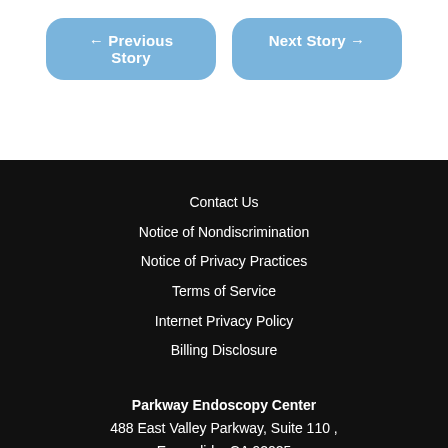[Figure (other): Navigation buttons: left arrow Previous Story and right arrow Next Story, styled as rounded blue buttons]
Contact Us
Notice of Nondiscrimination
Notice of Privacy Practices
Terms of Service
Internet Privacy Policy
Billing Disclosure
Parkway Endoscopy Center
488 East Valley Parkway, Suite 110 ,
Escondido, CA 92025